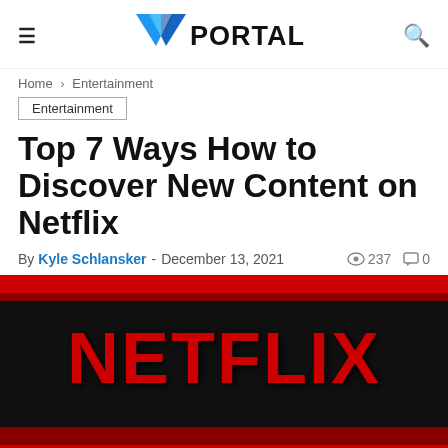≡  PORTAL  🔍
Home › Entertainment
Entertainment
Top 7 Ways How to Discover New Content on Netflix
By Kyle Schlansker - December 13, 2021  👁 237  💬 0
[Figure (photo): Netflix Most Popular Shows banner image with red and black background, large red NETFLIX text, and 'MOST POPULAR SHOWS' text at bottom]